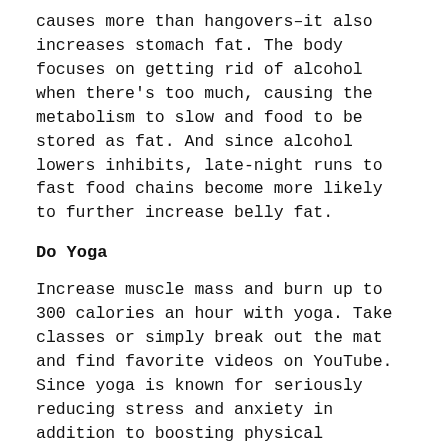causes more than hangovers–it also increases stomach fat. The body focuses on getting rid of alcohol when there's too much, causing the metabolism to slow and food to be stored as fat. And since alcohol lowers inhibits, late-night runs to fast food chains become more likely to further increase belly fat.
Do Yoga
Increase muscle mass and burn up to 300 calories an hour with yoga. Take classes or simply break out the mat and find favorite videos on YouTube. Since yoga is known for seriously reducing stress and anxiety in addition to boosting physical fitness, it helps lower cortisol production. The stress hormone is directly linked to belly fat accumulations.
Go Swimming